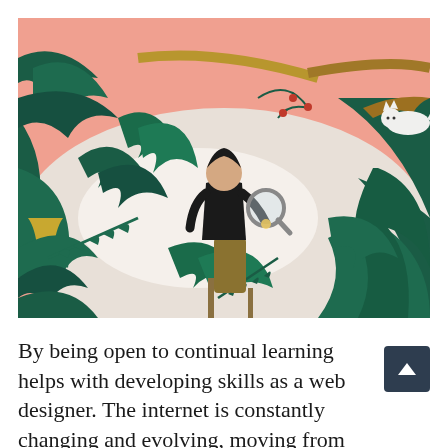[Figure (illustration): A colorful flat-style illustration of a person standing in a lush tropical jungle, holding a magnifying glass. The background shows a pink sky, white clouds, and a yellow sun. Dense green foliage surrounds the figure. A white cat rests on a branch in the upper right. The figure wears a black top and olive/mustard trousers.]
By being open to continual learning helps with developing skills as a web designer. The internet is constantly changing and evolving, moving from